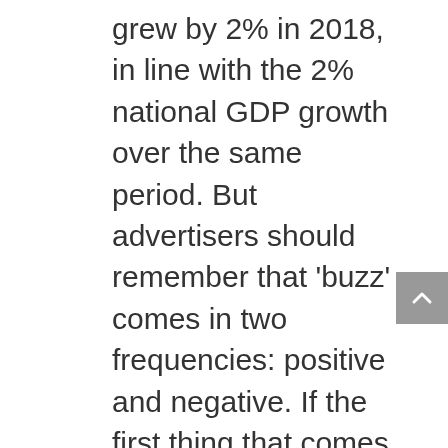grew by 2% in 2018, in line with the 2% national GDP growth over the same period. But advertisers should remember that 'buzz' comes in two frequencies: positive and negative. If the first thing that comes to mind when you think of Nasir Adderley Authentic Jersey a placemat is Tuscan-style leaves on durable vinyl, tacky seasonal vignettes, or monochromatic table settings for Very Fussy People, you're not alone. Huff, a 7-foot-1 sophomore, explained that some of Virginia's drills push players harder than they will experience on the court in a game setting. And speaks to the power of the brand. Gruden said he returned to coaching after ten years for four reasons: Erik McCoy Authentic Jersey I